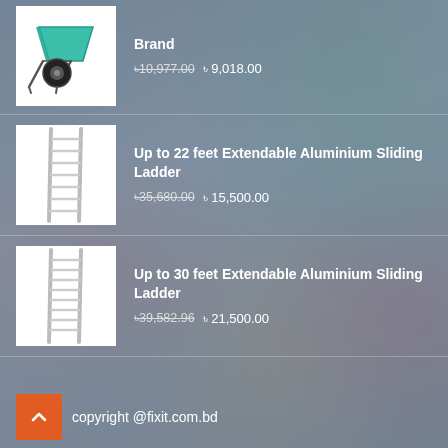[Figure (photo): Green wheelbarrow product image on white background]
Brand
৳10,977.00 ৳ 9,018.00
[Figure (photo): Aluminium extendable sliding ladder product image on white background]
Up to 22 feet Extendable Aluminium Sliding Ladder
৳35,680.00 ৳ 15,500.00
[Figure (photo): Aluminium extendable sliding ladder product image on white background]
Up to 30 feet Extendable Aluminium Sliding Ladder
৳39,582.96 ৳ 21,500.00
copyright @fixit.com.bd